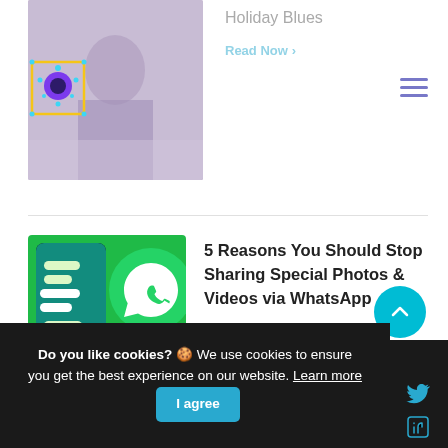[Figure (photo): Partial top article card showing a blurred image of a person, with logo overlay]
Holiday Blues
Read Now >
[Figure (photo): WhatsApp logo on green background with a smartphone showing chat messages]
5 Reasons You Should Stop Sharing Special Photos & Videos via WhatsApp
Read Now >
Do you like cookies? 🍪 We use cookies to ensure you get the best experience on our website. Learn more  I agree